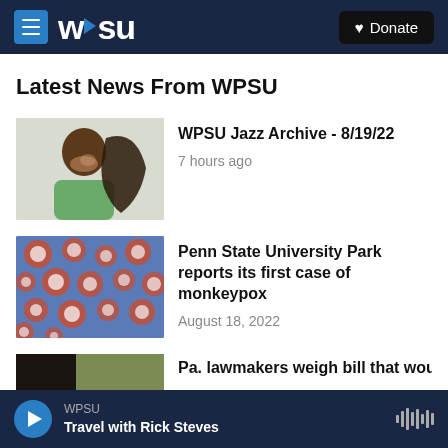WPSU
Latest News From WPSU
[Figure (photo): Man smiling holding a bass instrument, thumbnail for WPSU Jazz Archive article]
WPSU Jazz Archive - 8/19/22
7 hours ago
[Figure (photo): Microscope image of circular cells/monkeypox virus particles, thumbnail for monkeypox article]
Penn State University Park reports its first case of monkeypox
August 18, 2022
[Figure (photo): Partially visible thumbnail for Pa. lawmakers article]
Pa. lawmakers weigh bill that would
WPSU · Travel with Rick Steves